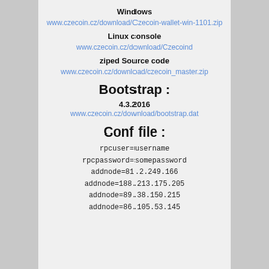Windows
www.czecoin.cz/download/Czecoin-wallet-win-1101.zip
Linux console
www.czecoin.cz/download/Czecoind
ziped Source code
www.czecoin.cz/download/czecoin_master.zip
Bootstrap :
4.3.2016
www.czecoin.cz/download/bootstrap.dat
Conf file :
rpcuser=username
rpcpassword=somepassword
addnode=81.2.249.166
addnode=188.213.175.205
addnode=89.38.150.215
addnode=86.105.53.145